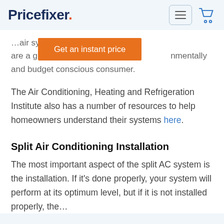Pricefixer.
...air systems are a gr...nmentally and budget conscious consumer.
[Figure (other): Orange button with text 'Get an instant price']
The Air Conditioning, Heating and Refrigeration Institute also has a number of resources to help homeowners understand their systems here.
Split Air Conditioning Installation
The most important aspect of the split AC system is the installation. If it's done properly, your system will perform at its optimum level, but if it is not installed properly, the...